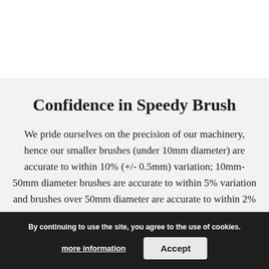Confidence in Speedy Brush
We pride ourselves on the precision of our machinery, hence our smaller brushes (under 10mm diameter) are accurate to within 10% (+/- 0.5mm) variation; 10mm-50mm diameter brushes are accurate to within 5% variation and brushes over 50mm diameter are accurate to within 2% variation. This means that whichever Speedy Brush you are looking for, than meet your requirements.
By continuing to use the site, you agree to the use of cookies.
more information
Accept